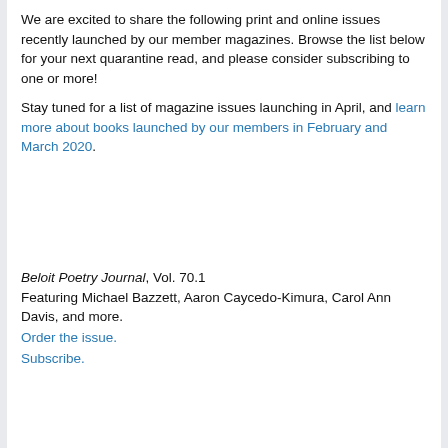We are excited to share the following print and online issues recently launched by our member magazines. Browse the list below for your next quarantine read, and please consider subscribing to one or more!
Stay tuned for a list of magazine issues launching in April, and learn more about books launched by our members in February and March 2020.
Beloit Poetry Journal, Vol. 70.1 Featuring Michael Bazzett, Aaron Caycedo-Kimura, Carol Ann Davis, and more. Order the issue. Subscribe.